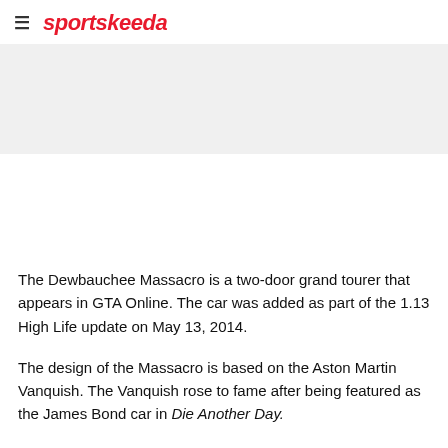≡ sportskeeda
The Dewbauchee Massacro is a two-door grand tourer that appears in GTA Online. The car was added as part of the 1.13 High Life update on May 13, 2014.
The design of the Massacro is based on the Aston Martin Vanquish. The Vanquish rose to fame after being featured as the James Bond car in Die Another Day.
The Dewbauchee Massacro can be purchased in GTA Online from the Legendary Motorsport website for $275,000. Its top speed was recorded at 121.75 mph